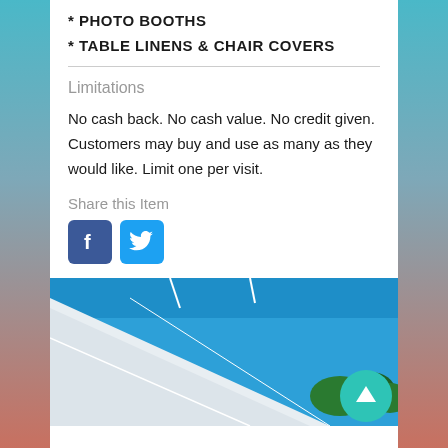* PHOTO BOOTHS
* TABLE LINENS & CHAIR COVERS
Limitations
No cash back. No cash value. No credit given. Customers may buy and use as many as they would like. Limit one per visit.
Share this Item
[Figure (other): Facebook and Twitter social share icons]
[Figure (photo): Photo of a white tent canopy against a blue sky with trees in the background]